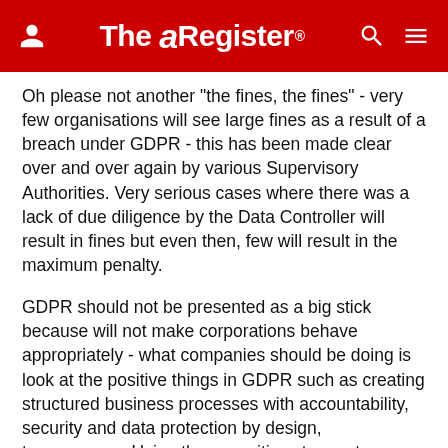The Register
Oh please not another "the fines, the fines" - very few organisations will see large fines as a result of a breach under GDPR - this has been made clear over and over again by various Supervisory Authorities. Very serious cases where there was a lack of due diligence by the Data Controller will result in fines but even then, few will result in the maximum penalty.
GDPR should not be presented as a big stick because will not make corporations behave appropriately - what companies should be doing is look at the positive things in GDPR such as creating structured business processes with accountability, security and data protection by design, transparency. Using these positives to create a competitive advantage and build trust.
GDPR is not about huge fines and never has been -